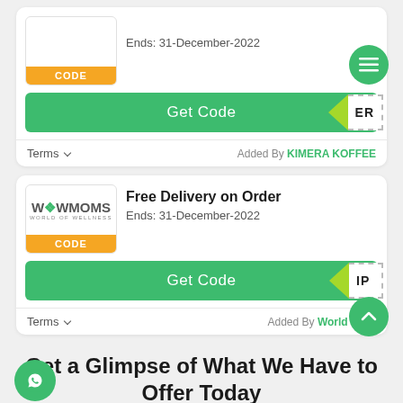[Figure (screenshot): Partial coupon card at top with CODE badge, 'Ends: 31-December-2022', Get Code green button, coupon reveal showing 'ER', Terms link and 'Added By KIMERA KOFFEE']
[Figure (screenshot): WowMoms coupon card: Free Delivery on Order, Ends: 31-December-2022, CODE badge, Get Code green button with 'IP' reveal, Terms and 'Added By World Of W...']
Get a Glimpse of What We Have to Offer Today